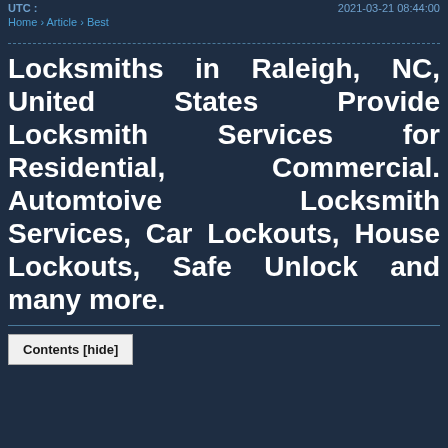UTC :    2021-03-21 08:44:00
Home › Article › Best
Locksmiths in Raleigh, NC, United States Provide Locksmith Services for Residential, Commercial. Automtoive Locksmith Services, Car Lockouts, House Lockouts, Safe Unlock and many more.
Contents [hide]